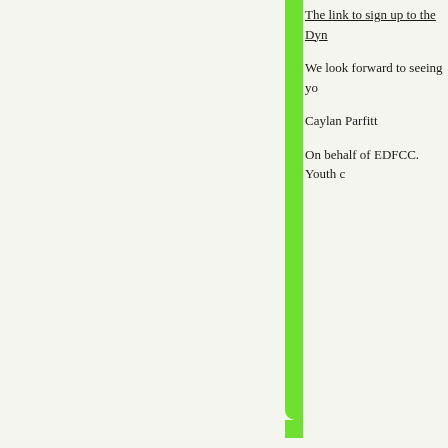The link to sign up to the Dyn
We look forward to seeing yo
Caylan Parfitt
On behalf of EDFCC. Youth c